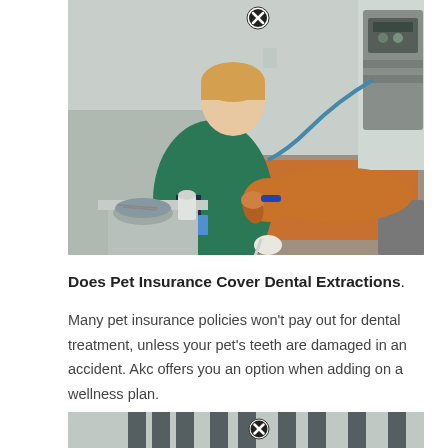[Figure (photo): A veterinarian in green scrubs performing a dental procedure on an orange/golden dog lying on an orange towel on an exam table. Medical equipment visible in background. A tray with dental tools is in the foreground.]
Does Pet Insurance Cover Dental Extractions.
Many pet insurance policies won't pay out for dental treatment, unless your pet's teeth are damaged in an accident. Akc offers you an option when adding on a wellness plan.
[Figure (photo): Partial view of another veterinary or medical setting, partially visible at the bottom of the page with a close button overlay.]